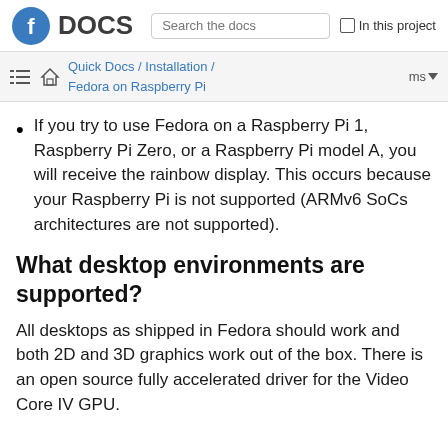Fedora DOCS  Search the docs  In this project
Quick Docs / Installation / Fedora on Raspberry Pi  ms
If you try to use Fedora on a Raspberry Pi 1, Raspberry Pi Zero, or a Raspberry Pi model A, you will receive the rainbow display. This occurs because your Raspberry Pi is not supported (ARMv6 SoCs architectures are not supported).
What desktop environments are supported?
All desktops as shipped in Fedora should work and both 2D and 3D graphics work out of the box. There is an open source fully accelerated driver for the Video Core IV GPU.